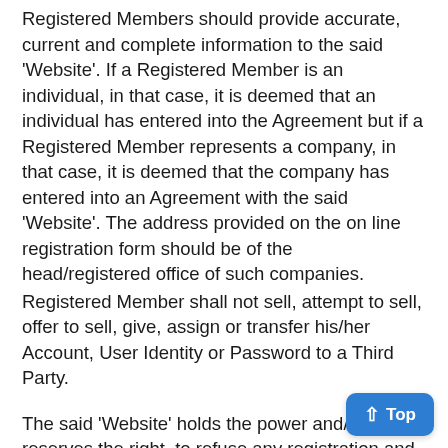Registered Members should provide accurate, current and complete information to the said 'Website'. If a Registered Member is an individual, in that case, it is deemed that an individual has entered into the Agreement but if a Registered Member represents a company, in that case, it is deemed that the company has entered into an Agreement with the said 'Website'. The address provided on the on line registration form should be of the head/registered office of such companies.
Registered Member shall not sell, attempt to sell, offer to sell, give, assign or transfer his/her Account, User Identity or Password to a Third Party.
The said 'Website' holds the power and/or reserves the right, to refuse any registration and deny the issuance of any such Master account and Sub User Account for whatever reasons. We also hold the right to seize an account without prior notice for any issue